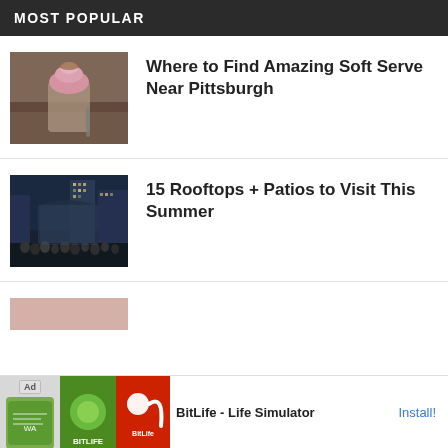MOST POPULAR
[Figure (photo): A glass cup with pink soft serve ice cream topped with granola/crumbles, with a spoon, on a wooden surface]
Where to Find Amazing Soft Serve Near Pittsburgh
[Figure (photo): Nighttime city rooftop scene with a large crowd of people and tall city buildings with lights]
15 Rooftops + Patios to Visit This Summer
[Figure (screenshot): Advertisement for BitLife - Life Simulator app showing ad label, app screenshots, and Install button]